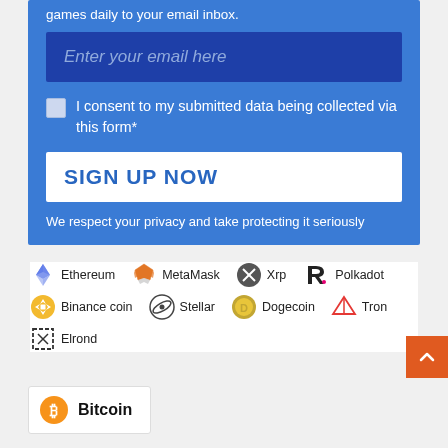games daily to your email inbox.
Enter your email here
I consent to my submitted data being collected via this form*
SIGN UP NOW
We respect your privacy and take protecting it seriously
[Figure (logo): Cryptocurrency logos: Ethereum, MetaMask, Xrp, Polkadot, Binance coin, Stellar, Dogecoin, Tron, Elrond]
Bitcoin